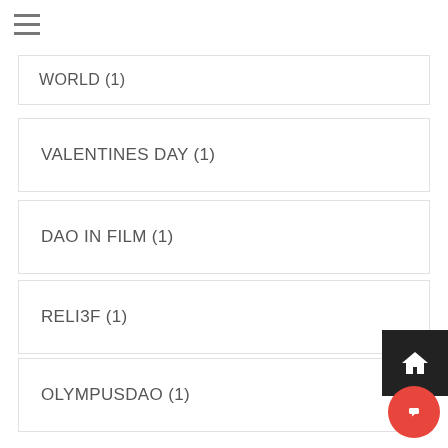WORLD (1)
VALENTINES DAY (1)
DAO IN FILM (1)
RELI3F (1)
OLYMPUSDAO (1)
GEMS (1)
ANTHONY SCARRAMUCCI (1)
AMM (1)